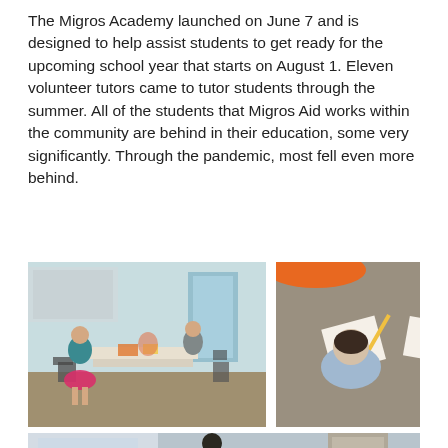The Migros Academy launched on June 7 and is designed to help assist students to get ready for the upcoming school year that starts on August 1. Eleven volunteer tutors came to tutor students through the summer. All of the students that Migros Aid works within the community are behind in their education, some very significantly. Through the pandemic, most fell even more behind.
[Figure (photo): Indoor classroom scene with students and tutors sitting around tables, chairs visible, backpacks and materials on tables, natural light from windows/door in background.]
[Figure (photo): Overhead view of two children sitting on a carpeted floor working on papers/worksheets, pencil visible, one child wearing blue shorts.]
[Figure (photo): Partial view of a room interior, bottom portion of the page, showing a dark silhouette figure and a door with a posted sign.]